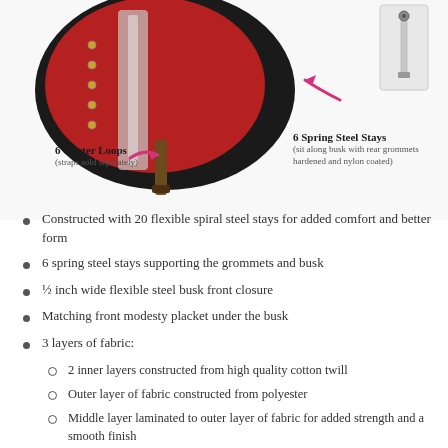[Figure (photo): Close-up photo of a red and black corset showing garter loops and spring steel stays, with pink arrows pointing to features. A small inset image shows a spring steel stay detail on the right.]
6 Garter Loops
(straps sold separately)
6 Spring Steel Stays
(sit along busk with rear grommets hardened and nylon coated)
Constructed with 20 flexible spiral steel stays for added comfort and better form
6 spring steel stays supporting the grommets and busk
½ inch wide flexible steel busk front closure
Matching front modesty placket under the busk
3 layers of fabric:
2 inner layers constructed from high quality cotton twill
Outer layer of fabric constructed from polyester
Middle layer laminated to outer layer of fabric for added strength and a smooth finish
Waist tape for added support at the waist line